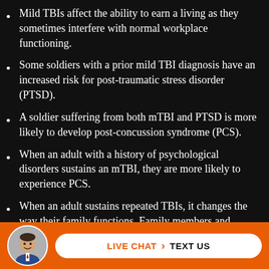Mild TBIs affect the ability to earn a living as they sometimes interfere with normal workplace functioning.
Some soldiers with a prior mild TBI diagnosis have an increased risk for post-traumatic stress disorder (PTSD).
A soldier suffering from both mTBI and PTSD is more likely to develop post-concussion syndrome (PCS).
When an adult with a history of psychological disorders sustains an mTBI, they are more likely to experience PCS.
When an adult sustains repeated TBIs, it changes the way their family functions. Family members and...
[Figure (photo): Circular avatar photo of a man in a suit with a red tie, displayed in the footer bar.]
LIVE CHAT  >  TEXT US